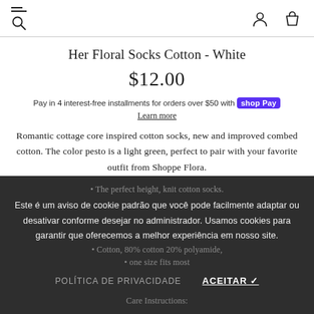Navigation header with menu, search, user, and cart icons
Her Floral Socks Cotton - White
$12.00
Pay in 4 interest-free installments for orders over $50 with Shop Pay
Learn more
Romantic cottage core inspired cotton socks, new and improved combed cotton. The color pesto is a light green, perfect to pair with your favorite outfit from Shoppe Flora.
Este é um aviso de cookie padrão que você pode facilmente adaptar ou desativar conforme desejar no administrador. Usamos cookies para garantir que oferecemos a melhor experiência em nosso site.
POLÍTICA DE PRIVACIDADE    ACEITAR ✓